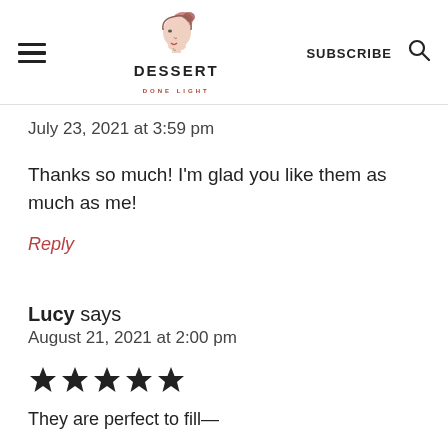DESSERT DONE LIGHT [logo with hamburger menu, SUBSCRIBE, search icon]
July 23, 2021 at 3:59 pm
Thanks so much! I'm glad you like them as much as me!
Reply
Lucy says
August 21, 2021 at 2:00 pm
[Figure (other): Five filled star rating icons]
They are perfect to fill———